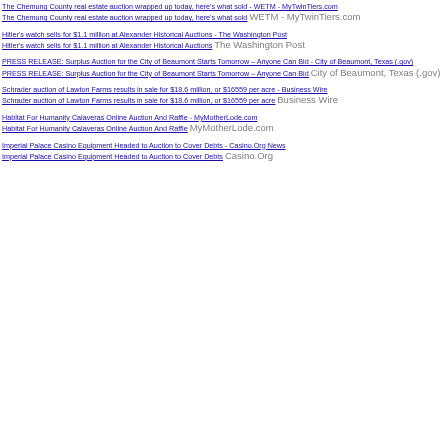The Chemung County real estate auction wrapped up today, here's what sold - WETM - MyTwinTiers.com
The Chemung County real estate auction wrapped up today, here's what sold   WETM - MyTwinTiers.com
Hitler's watch sells for $1.1 million at Alexander Historical Auctions - The Washington Post
Hitler's watch sells for $1.1 million at Alexander Historical Auctions   The Washington Post
PRESS RELEASE: Surplus Auction for the City of Beaumont Starts Tomorrow – Anyone Can Bid - City of Beaumont, Texas (.gov)
PRESS RELEASE: Surplus Auction for the City of Beaumont Starts Tomorrow – Anyone Can Bid   City of Beaumont, Texas (.gov)
Schrader auction of Lawton Farms results in sale for $18.6 million, or $16559 per acre - Business Wire
Schrader auction of Lawton Farms results in sale for $18.6 million, or $16559 per acre   Business Wire
Habitat For Humanity Calaveras Online Auction And Raffle - MyMotherLode.com
Habitat For Humanity Calaveras Online Auction And Raffle   MyMotherLode.com
Imperial Palace Casino Equipment Headed to Auction to Cover Debts - Casino.Org News
Imperial Palace Casino Equipment Headed to Auction to Cover Debts   Casino.Org